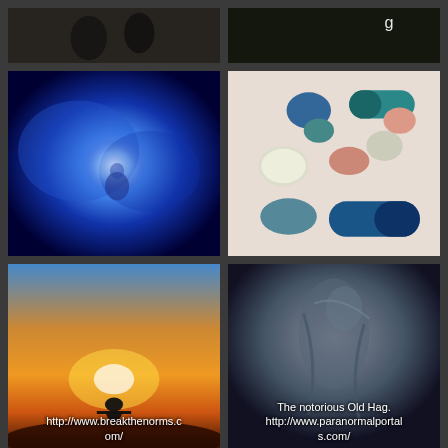[Figure (photo): Dark historical photo with figures, partially cropped at top]
[Figure (photo): Dark image with letter 'g' visible at top right, partially cropped]
[Figure (photo): Blue cosmic/nebula image with glowing figure]
[Figure (photo): Close-up photo of colorful pills and capsules]
[Figure (photo): Silhouette of meditating person at sunset with text overlay: http://www.breakthenorms.com/]
[Figure (photo): Dark painting of hunched figure (Old Hag) with text overlay: The notorious Old Hag. http://www.paranormalportals.com/]
[Figure (photo): Close-up of a three-toed sloth with text overlay: Three-toed sloths are giving]
[Figure (photo): Close-up of elderly man's face with text overlay: Would Jesus be Einstein had he lived out his life?]